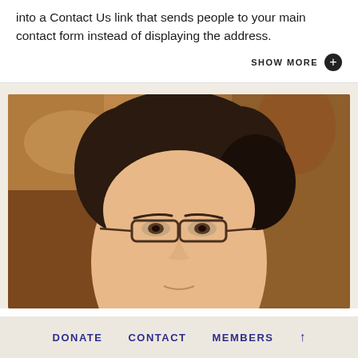into a Contact Us link that sends people to your main contact form instead of displaying the address.
SHOW MORE +
[Figure (photo): Close-up portrait photo of a woman with dark hair pulled back, wearing rectangular dark-framed glasses, against a warm blurred background.]
DONATE   CONTACT   MEMBERS   ↑